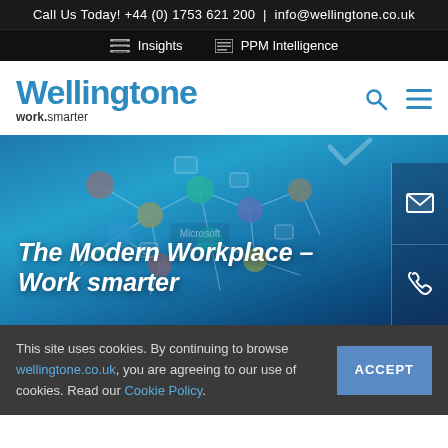Call Us Today! +44 (0) 1753 621 200 | info@wellingtone.co.uk
Insights | PPM Intelligence
[Figure (logo): Wellingtone logo — large blue bold text 'Wellingtone' with tagline 'work.smarter' below, search and hamburger menu icons on the right]
[Figure (screenshot): Hero banner with teal/dark blue gradient background showing a Microsoft brain network illustration with colourful avatar icons connected by lines. A white checkmark is visible top right. White italic bold text reads 'The Modern Workplace – Work smarter'. On the far right there are two side icons: an envelope and a phone.]
This site uses cookies. By continuing to browse wellingtone.co.uk, you are agreeing to our use of cookies. Read our Cookie Policy.